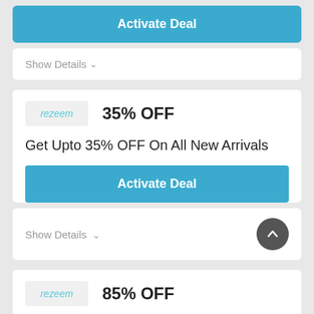[Figure (screenshot): Activate Deal button (blue, top partial)]
Show Details ∨
[Figure (logo): rezeem logo]
35% OFF
Get Upto 35% OFF On All New Arrivals
Activate Deal
Show Details ∨
[Figure (logo): rezeem logo]
85% OFF
Ber Month Sale: Get Upto 85% OFF On Selected Products